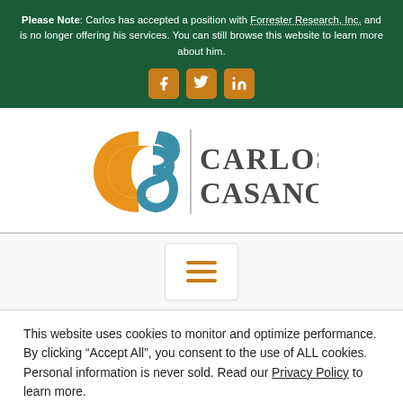Please Note: Carlos has accepted a position with Forrester Research, Inc. and is no longer offering his services. You can still browse this website to learn more about him.
[Figure (logo): Social media icons: Facebook, Twitter, LinkedIn in orange rounded square buttons]
[Figure (logo): Carlos Casanova logo: stylized orange and blue S-shape icon beside bold text CARLOS CASANOVA]
[Figure (other): Hamburger menu button (three orange horizontal lines) in a white rounded rectangle]
This website uses cookies to monitor and optimize performance. By clicking “Accept All”, you consent to the use of ALL cookies. Personal information is never sold. Read our Privacy Policy to learn more.